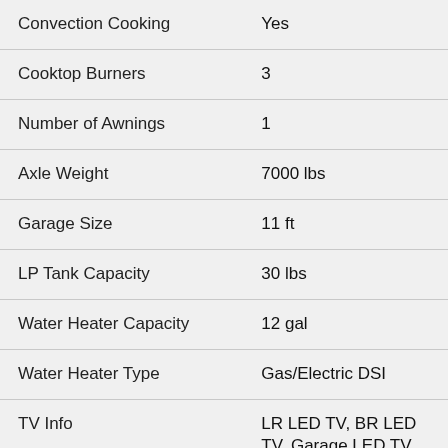| Feature | Value |
| --- | --- |
| Convection Cooking | Yes |
| Cooktop Burners | 3 |
| Number of Awnings | 1 |
| Axle Weight | 7000 lbs |
| Garage Size | 11 ft |
| LP Tank Capacity | 30 lbs |
| Water Heater Capacity | 12 gal |
| Water Heater Type | Gas/Electric DSI |
| TV Info | LR LED TV, BR LED TV, Garage LED TV, Ext. LED TV |
|  | 10' and 20' Power w/LED |